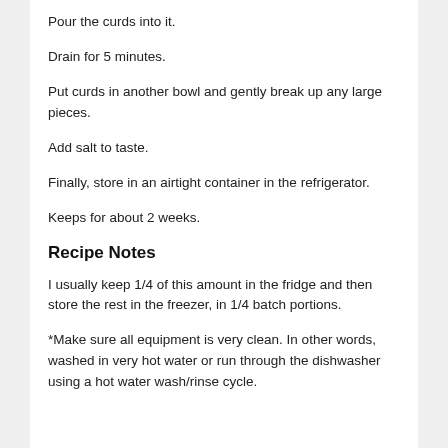Pour the curds into it.
Drain for 5 minutes.
Put curds in another bowl and gently break up any large pieces.
Add salt to taste.
Finally, store in an airtight container in the refrigerator.
Keeps for about 2 weeks.
Recipe Notes
I usually keep 1/4 of this amount in the fridge and then store the rest in the freezer, in 1/4 batch portions.
*Make sure all equipment is very clean. In other words, washed in very hot water or run through the dishwasher using a hot water wash/rinse cycle.